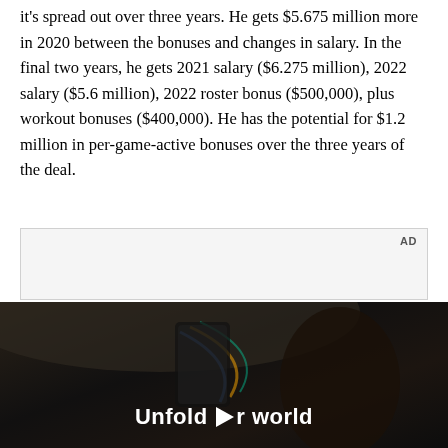it's spread out over three years. He gets $5.675 million more in 2020 between the bonuses and changes in salary. In the final two years, he gets 2021 salary ($6.275 million), 2022 salary ($5.6 million), 2022 roster bonus ($500,000), plus workout bonuses ($400,000). He has the potential for $1.2 million in per-game-active bonuses over the three years of the deal.
[Figure (other): Advertisement placeholder with gray background and AD label, followed by a video advertisement showing a person holding a phone in a dark car interior with the text 'Unfold your world' and a play button.]